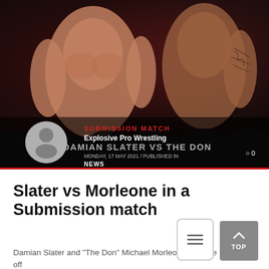[Figure (photo): Hero image showing two wrestlers (Damian Slater and The Don Michael Morleone) against a dark red background, with event branding overlay including 'SUBMISSION MATCH', 'DAMIAN SLATER VS THE DON', EPW Revolution 12 June branding, and a user avatar circle.]
Slater vs Morleone in a Submission match
Damian Slater and "The Don" Michael Morleone will face off